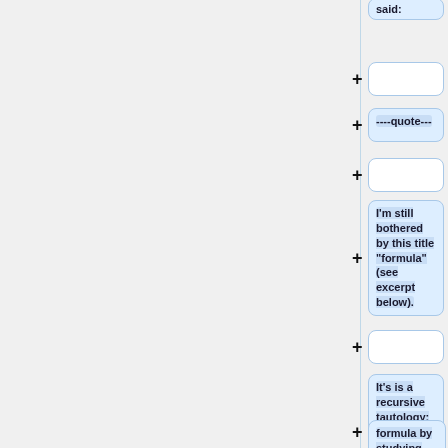said:
----quote---
I'm still bothered by this title "formula" (see excerpt below).
It's is a recursive tautology: they're saying that they built this
formula by studying best